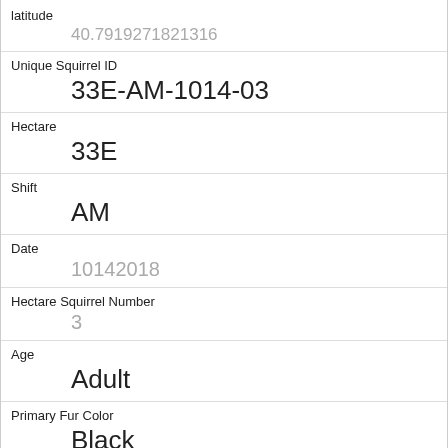| Field | Value |
| --- | --- |
| latitude | 40.7919271821316 |
| Unique Squirrel ID | 33E-AM-1014-03 |
| Hectare | 33E |
| Shift | AM |
| Date | 10142018 |
| Hectare Squirrel Number | 3 |
| Age | Adult |
| Primary Fur Color | Black |
| Highlight Fur Color |  |
| Combination of Primary and Highlight Color | Black+ |